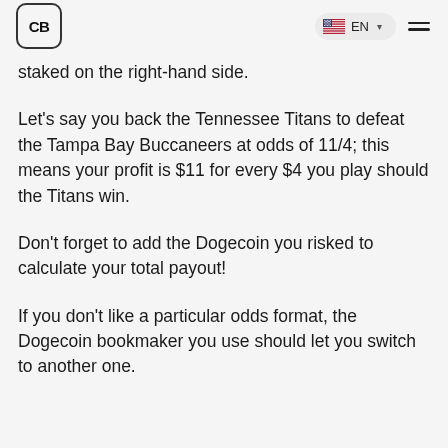CB | EN
staked on the right-hand side.
Let's say you back the Tennessee Titans to defeat the Tampa Bay Buccaneers at odds of 11/4; this means your profit is $11 for every $4 you play should the Titans win.
Don't forget to add the Dogecoin you risked to calculate your total payout!
If you don't like a particular odds format, the Dogecoin bookmaker you use should let you switch to another one.